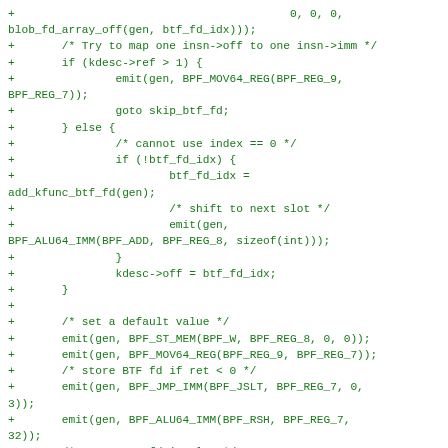+                                         0, 0, 0,
blob_fd_array_off(gen, btf_fd_idx)));
+       /* Try to map one insn->off to one insn->imm */
+       if (kdesc->ref > 1) {
+               emit(gen, BPF_MOV64_REG(BPF_REG_9,
BPF_REG_7));
+               goto skip_btf_fd;
+       } else {
+               /* cannot use index == 0 */
+               if (!btf_fd_idx) {
+                       btf_fd_idx =
add_kfunc_btf_fd(gen);
+                       /* shift to next slot */
+                       emit(gen,
BPF_ALU64_IMM(BPF_ADD, BPF_REG_8, sizeof(int)));
+               }
+               kdesc->off = btf_fd_idx;
+       }
+
+       /* set a default value */
+       emit(gen, BPF_ST_MEM(BPF_W, BPF_REG_8, 0, 0));
+       emit(gen, BPF_MOV64_REG(BPF_REG_9, BPF_REG_7));
+       /* store BTF fd if ret < 0 */
+       emit(gen, BPF_JMP_IMM(BPF_JSLT, BPF_REG_7, 0,
3));
+       emit(gen, BPF_ALU64_IMM(BPF_RSH, BPF_REG_7,
32));
+       /* store BTF fd in slot */
+       emit(gen, BPF_STX_MEM(BPF_W, BPF_REG_8,
BPF_REG_7, 0));